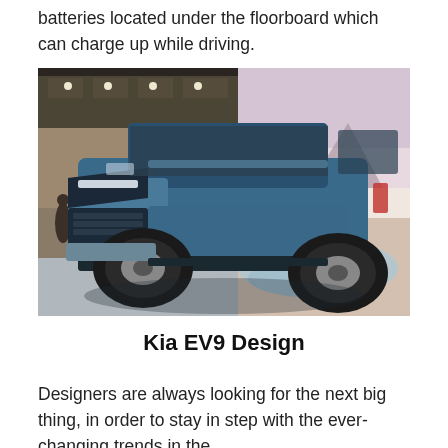batteries located under the floorboard which can charge up while driving.
[Figure (photo): A blue Kia EV9 concept electric SUV displayed at an auto show, shown in a composite image with an indoor exhibition hall on the left and a desert landscape on the right. The vehicle has angular, futuristic styling with large black wheels and distinctive LED lighting.]
Kia EV9 Design
Designers are always looking for the next big thing, in order to stay in step with the ever-changing trends in the